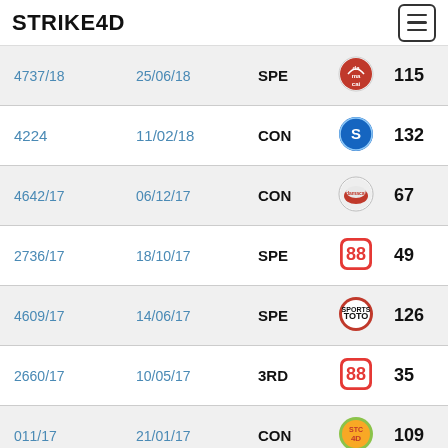STRIKE4D
| Draw | Date | Prize | Operator | Number |
| --- | --- | --- | --- | --- |
| 4737/18 | 25/06/18 | SPE | Damacai | 115 |
| 4224 | 11/02/18 | CON | Sports Toto | 132 |
| 4642/17 | 06/12/17 | CON | Damacai | 67 |
| 2736/17 | 18/10/17 | SPE | Magnum 4D | 49 |
| 4609/17 | 14/06/17 | SPE | Sports Toto | 126 |
| 2660/17 | 10/05/17 | 3RD | Magnum 4D | 35 |
| 011/17 | 21/01/17 | CON | STC 4D | 109 |
| 2557/16 | 15/10/16 | SPE | Magnum 4D | 98 |